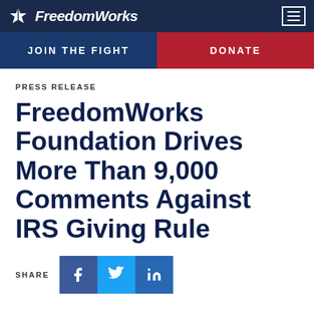FreedomWorks
JOIN THE FIGHT | DONATE
PRESS RELEASE
FreedomWorks Foundation Drives More Than 9,000 Comments Against IRS Giving Rule
SHARE